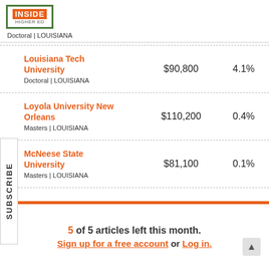Doctoral | LOUISIANA
Louisiana Tech University | $90,800 | 4.1% | Doctoral | LOUISIANA
Loyola University New Orleans | $110,200 | 0.4% | Masters | LOUISIANA
McNeese State University | $81,100 | 0.1% | Masters | LOUISIANA
5 of 5 articles left this month. Sign up for a free account or Log in.